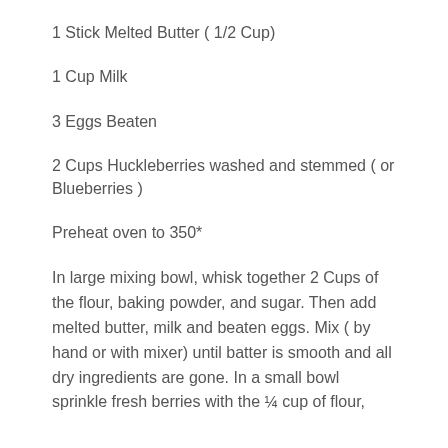1 Stick Melted Butter ( 1/2 Cup)
1 Cup Milk
3 Eggs Beaten
2 Cups Huckleberries washed and stemmed ( or Blueberries )
Preheat oven to 350*
In large mixing bowl, whisk together 2 Cups of the flour, baking powder, and sugar. Then add melted butter, milk and beaten eggs. Mix ( by hand or with mixer) until batter is smooth and all dry ingredients are gone. In a small bowl sprinkle fresh berries with the ¼ cup of flour,